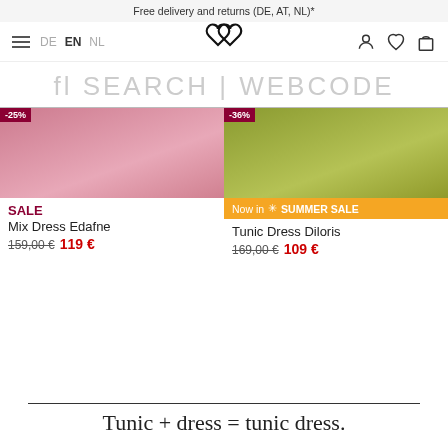Free delivery and returns (DE, AT, NL)*
[Figure (screenshot): E-commerce navigation bar with hamburger menu, language switcher (DE, EN, NL), logo (two interlocked hearts), and icons for user account, wishlist, and cart]
[Figure (screenshot): Search bar with placeholder text: fl SEARCH | WEBCODE]
[Figure (photo): Product image for Mix Dress Edafne with -25% badge, pink dress]
SALE
Mix Dress Edafne
159,00 € 119 €
[Figure (photo): Product image for Tunic Dress Diloris with -36% badge and Now in SUMMER SALE orange banner]
Now in ✳ SUMMER SALE
Tunic Dress Diloris
169,00 € 109 €
Tunic + dress = tunic dress.